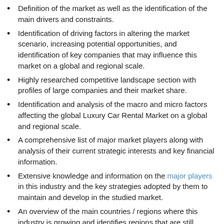Definition of the market as well as the identification of the main drivers and constraints.
Identification of driving factors in altering the market scenario, increasing potential opportunities, and identification of key companies that may influence this market on a global and regional scale.
Highly researched competitive landscape section with profiles of large companies and their market share.
Identification and analysis of the macro and micro factors affecting the global Luxury Car Rental Market on a global and regional scale.
A comprehensive list of major market players along with analysis of their current strategic interests and key financial information.
Extensive knowledge and information on the major players in this industry and the key strategies adopted by them to maintain and develop in the studied market.
An overview of the main countries / regions where this industry is growing and identifies regions that are still unexploited.